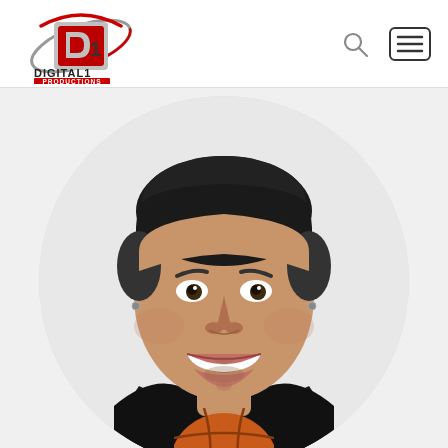[Figure (logo): Digital1 Productions logo with stylized D1 emblem and orbital ring, red and silver colors, text DIGITAL1 PRODUCTIONS below]
[Figure (other): Navigation icons: search magnifying glass icon and hamburger menu icon (three horizontal lines in a rounded rectangle border)]
[Figure (photo): Circular cropped professional headshot of a young man with short dark hair, small ear studs, smiling broadly with white teeth, wearing a black collared shirt, against a light gray/white background]
[Figure (photo): Partial view of a round brown basketball at the bottom of the page, partially cropped]